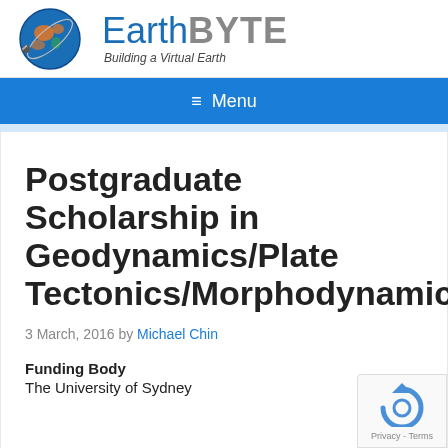[Figure (logo): EarthByte logo: globe with satellite and text 'EarthByte Building a Virtual Earth']
≡ Menu
Postgraduate Scholarship in Geodynamics/Plate Tectonics/Morphodynamics
3 March, 2016 by Michael Chin
Funding Body
The University of Sydney